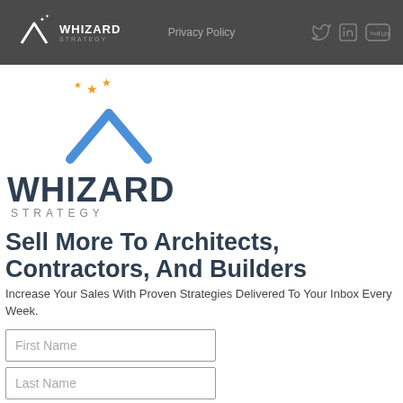Whizard Strategy — Privacy Policy | Twitter | LinkedIn | YouTube
[Figure (logo): Whizard Strategy logo — large version with blue wand/house shape and orange stars, text WHIZARD STRATEGY]
Sell More To Architects, Contractors, And Builders
Increase Your Sales With Proven Strategies Delivered To Your Inbox Every Week.
First Name
Last Name